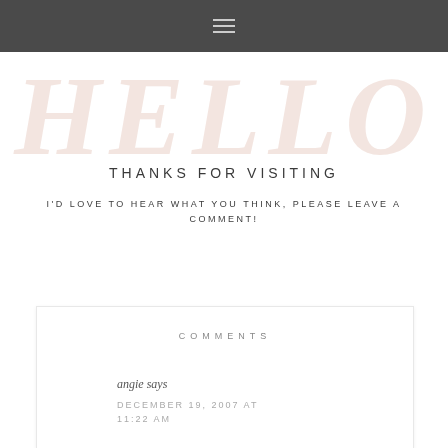≡
HELLO
THANKS FOR VISITING
I'D LOVE TO HEAR WHAT YOU THINK, PLEASE LEAVE A COMMENT!
COMMENTS
angie says
DECEMBER 19, 2007 AT 11:22 AM